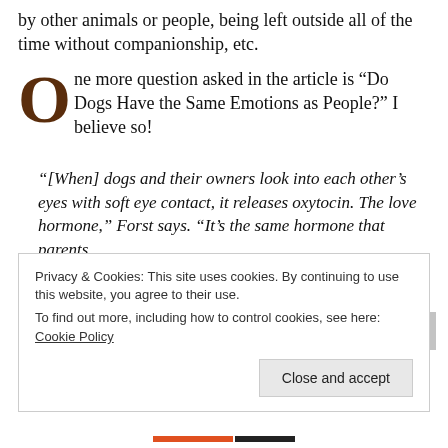by other animals or people, being left outside all of the time without companionship, etc.
One more question asked in the article is “Do Dogs Have the Same Emotions as People?” I believe so!
“[When] dogs and their owners look into each other’s eyes with soft eye contact, it releases oxytocin. The love hormone,” Forst says. “It’s the same hormone that parents
Privacy & Cookies: This site uses cookies. By continuing to use this website, you agree to their use.
To find out more, including how to control cookies, see here: Cookie Policy
Close and accept